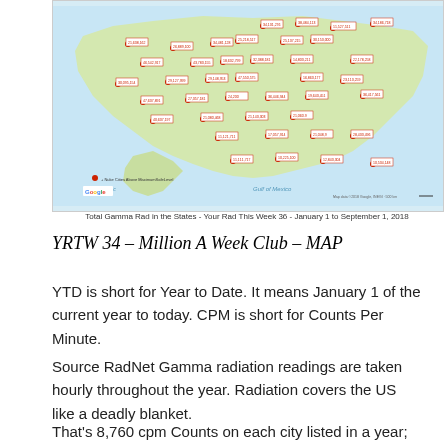[Figure (map): A map of the United States showing Total Gamma Radiation readings in cities, with red location pin markers and numeric labels scattered across the country. Caption reads: Total Gamma Rad in the States - Your Rad This Week 36 - January 1 to September 1, 2018]
Total Gamma Rad in the States - Your Rad This Week 36 - January 1 to September 1, 2018
YRTW 34 – Million A Week Club – MAP
YTD is short for Year to Date. It means January 1 of the current year to today. CPM is short for Counts Per Minute.
Source RadNet Gamma radiation readings are taken hourly throughout the year. Radiation covers the US like a deadly blanket.
That's 8,760 cpm Counts on each city listed in a year; 8,784 cpm count reports in a Leap Year.